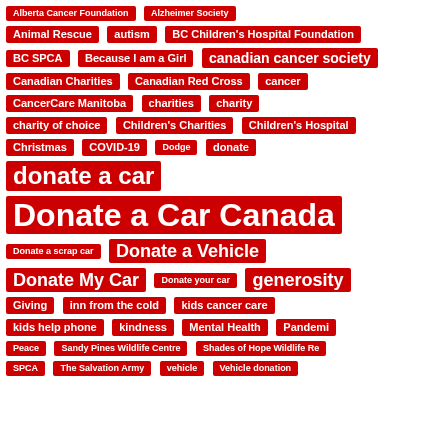[Figure (infographic): Tag cloud of charity and donation-related keywords rendered as red pill/rectangle badges on white background. Tags include: Alberta Cancer Foundation, Alzheimer Society, Animal Rescue, autism, BC Children's Hospital Foundation, BC SPCA, Because I am a Girl, canadian cancer society, Canadian Charities, Canadian Red Cross, cancer, CancerCare Manitoba, charities, charity, charity of choice, Children's Charities, Children's Hospital, Christmas, COVID-19, Dodge, donate, donate a car, Donate a Car Canada, Donate a scrap car, Donate a Vehicle, Donate My Car, Donate your car, generosity, Giving, inn from the cold, kids cancer care, kids help phone, kindness, Mental Health, Pandemic, Peace, Sandy Pines Wildlife Centre, Shades of Hope Wildlife Re..., SPCA, The Salvation Army, vehicle, Vehicle donation]